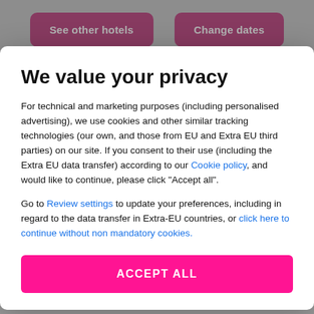[Figure (screenshot): Travel website background showing two pink hotel search buttons at the top: 'See other hotels' and 'Change dates', with hotel listing cards partially visible at the bottom including Limak Arcadia Sport Resort and Susesi Lu...]
We value your privacy
For technical and marketing purposes (including personalised advertising), we use cookies and other similar tracking technologies (our own, and those from EU and Extra EU third parties) on our site. If you consent to their use (including the Extra EU data transfer) according to our Cookie policy, and would like to continue, please click "Accept all".
Go to Review settings to update your preferences, including in regard to the data transfer in Extra-EU countries, or click here to continue without non mandatory cookies.
ACCEPT ALL